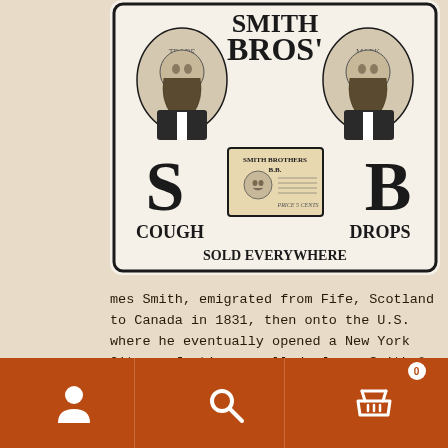founder, James Smith, emigrated from Fife, Scotland to Canada in 1831, then onto the U.S. where he eventually opened a New York City confectioner called, James Smith & Sons Sweet Shop.
[Figure (illustration): Smith Bros' Cough Drops advertisement showing two bearded men, large letters S and B, a box of Smith Brothers B.B. cough drops, text reading COUGH DROPS and SOLD EVERYWHERE]
In 1847, James met Sly Hawkins, a peddler who sold him a recipe for cough formula